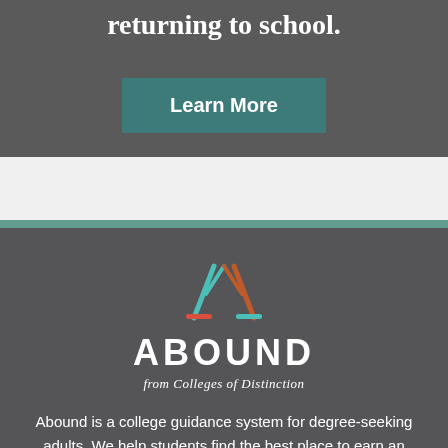returning to school.
Learn More
[Figure (logo): Abound from Colleges of Distinction logo — stylized letter A mark in teal, orange, and red with teal and red horizontal bars, above the word ABOUND in bold white, with italic tagline 'from Colleges of Distinction' in white below]
Abound is a college guidance system for degree-seeking adults. We help students find the best place to earn an undergraduate